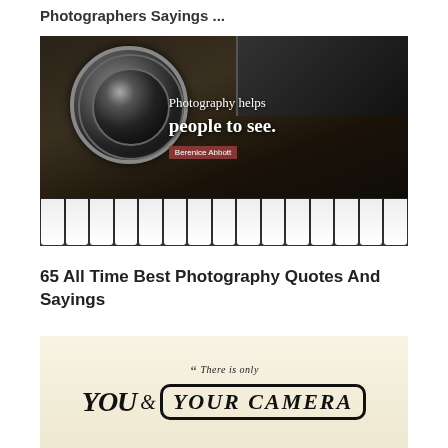Photographers Sayings ...
[Figure (photo): Dark vintage camera resting on piano keys with text overlay: 'Photography helps people to see.' attributed to Berenice Abbott]
65 All Time Best Photography Quotes And Sayings
[Figure (photo): Handwritten text on paper: '"There is only YOU & YOUR CAMERA.' with YOU and YOUR CAMERA in large bold script]